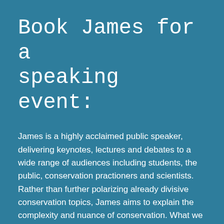Book James for a speaking event:
James is a highly acclaimed public speaker, delivering keynotes, lectures and debates to a wide range of audiences including students, the public, conservation practioners and scientists. Rather than further polarizing already divisive conservation topics, James aims to explain the complexity and nuance of conservation. What we choose to do over the next five decades, will profoundly influence the diversity of life on eath for the next 5 million years. It's never been a more important, or more exciting time to be a